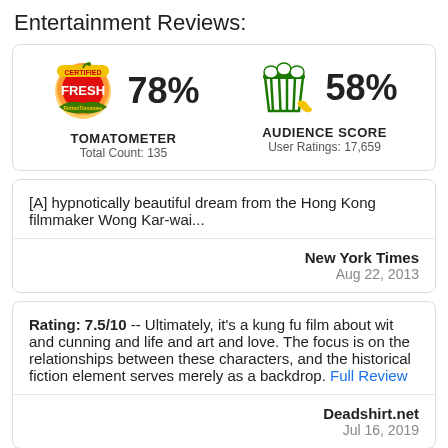Entertainment Reviews:
[Figure (infographic): Rotten Tomatoes scores: Certified Fresh tomato icon with 78% Tomatometer (Total Count: 135) and popcorn bucket icon with 58% Audience Score (User Ratings: 17,659)]
[A] hypnotically beautiful dream from the Hong Kong filmmaker Wong Kar-wai...
New York Times
Aug 22, 2013
Rating: 7.5/10 -- Ultimately, it's a kung fu film about wit and cunning and life and art and love. The focus is on the relationships between these characters, and the historical fiction element serves merely as a backdrop. Full Review
Deadshirt.net
Jul 16, 2019